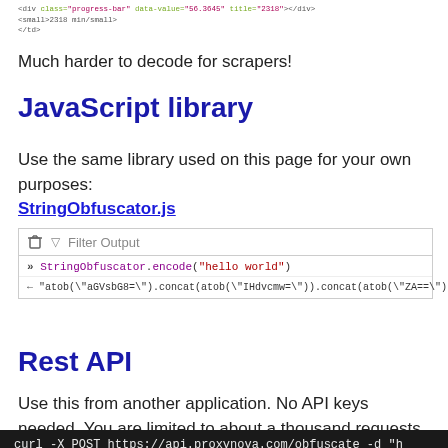[Figure (screenshot): HTML code snippet showing a div with class='progress-bar' and a small element below it]
Much harder to decode for scrapers!
JavaScript library
Use the same library used on this page for your own purposes: StringObfuscator.js
[Figure (screenshot): Browser console showing StringObfuscator.encode('hello world') input and the obfuscated output string]
Rest API
Use this from another application. No API keys needed. You are limited to about a thousand requests per day.
[Figure (screenshot): Terminal showing curl -X POST https://api.proxynova.com/obfuscate -d command]